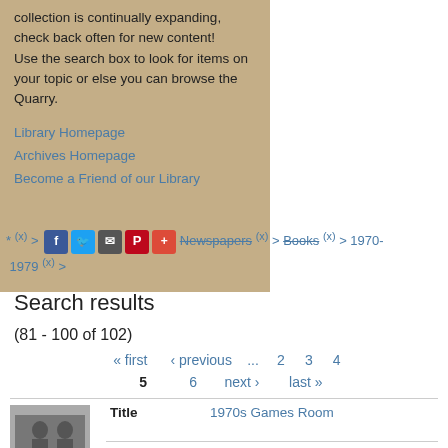collection is continually expanding, check back often for new content! Use the search box to look for items on your topic or else you can browse the Quarry.
Library Homepage
Archives Homepage
Become a Friend of our Library
* (x) > Newspapers (x) > Books (x) > 1970-1979 (x) >
Search results
(81 - 100 of 102)
« first  ‹ previous  ...  2  3  4  5  6  next ›  last »
|  | Field | Value |
| --- | --- | --- |
| [image] | Title | 1970s Games Room |
|  | Description | Three people playing Foosball |